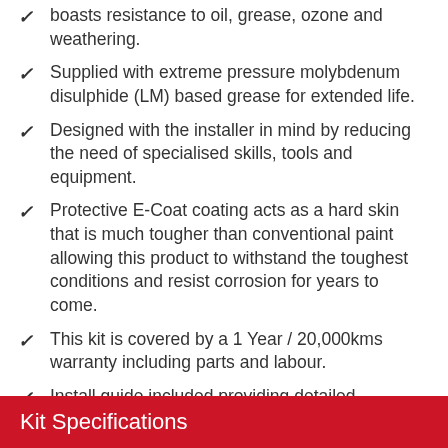boasts resistance to oil, grease, ozone and weathering.
Supplied with extreme pressure molybdenum disulphide (LM) based grease for extended life.
Designed with the installer in mind by reducing the need of specialised skills, tools and equipment.
Protective E-Coat coating acts as a hard skin that is much tougher than conventional paint allowing this product to withstand the toughest conditions and resist corrosion for years to come.
This kit is covered by a 1 Year / 20,000kms warranty including parts and labour.
Install guide included providing detailed instructions on how to install your new purchase .
Kit Specifications